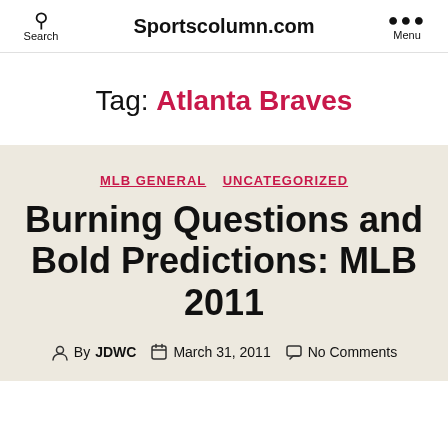Sportscolumn.com
Tag: Atlanta Braves
MLB GENERAL  UNCATEGORIZED
Burning Questions and Bold Predictions: MLB 2011
By JDWC  March 31, 2011  No Comments